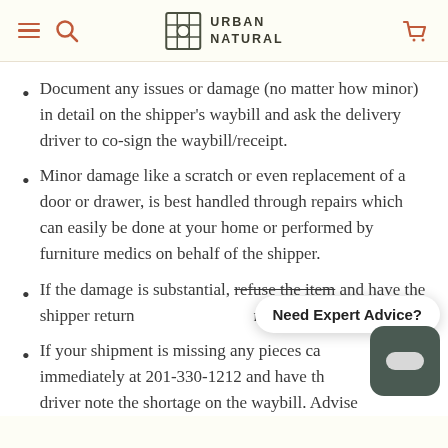URBAN NATURAL
Document any issues or damage (no matter how minor) in detail on the shipper's waybill and ask the delivery driver to co-sign the waybill/receipt.
Minor damage like a scratch or even replacement of a door or drawer, is best handled through repairs which can easily be done at your home or performed by furniture medics on behalf of the shipper.
If the damage is substantial, refuse the item and have the shipper return it for repair or replacement
If your shipment is missing any pieces call immediately at 201-330-1212 and have the driver note the shortage on the waybill. Advise